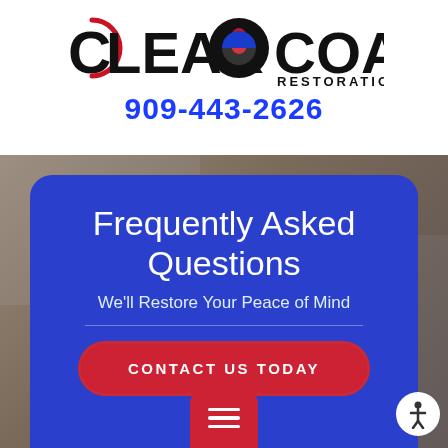[Figure (logo): Clear Coast Restoration logo with stylized C letter in red/black and water drop/building icon in center]
909-443-2626
Frequently Asked Questions
We'll Restore Your Peace of Mind
CONTACT US TODAY